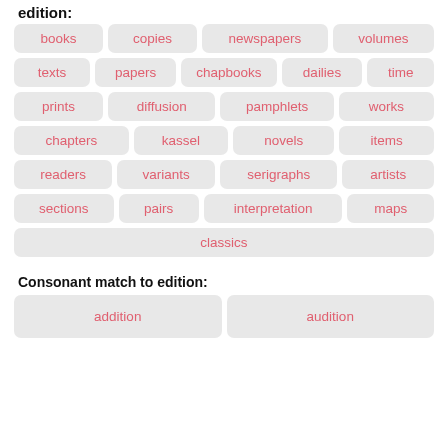edition:
books
copies
newspapers
volumes
texts
papers
chapbooks
dailies
time
prints
diffusion
pamphlets
works
chapters
kassel
novels
items
readers
variants
serigraphs
artists
sections
pairs
interpretation
maps
classics
Consonant match to edition:
addition
audition